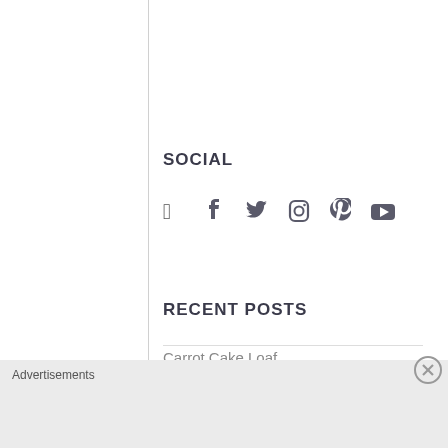SOCIAL
[Figure (infographic): Social media icons: Facebook, Twitter, Instagram, Pinterest, YouTube]
RECENT POSTS
Carrot Cake Loaf
Stockan's Scottish Oatcake Recipes
Advertisements